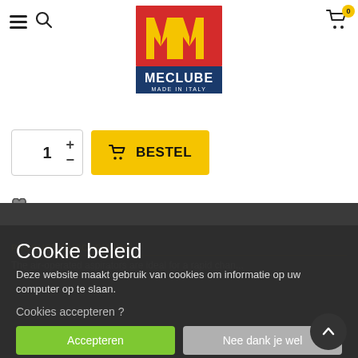[Figure (logo): Meclube Made in Italy logo — red background with yellow M-shaped stripes, blue banner with white text MECLUBE and MADE IN ITALY]
[Figure (other): Quantity selector showing 1 with plus and minus buttons, and a yellow BESTEL (order) button with shopping cart icon]
Toevoegen Aan Verlanglijst
PRODUCT OMSCHRIJVING
The air-operated aspirators are ideal for a rapid change...
Cookie beleid
Deze website maakt gebruik van cookies om informatie op uw computer op te slaan.
Cookies accepteren ?
Accepteren
Nee dank je wel